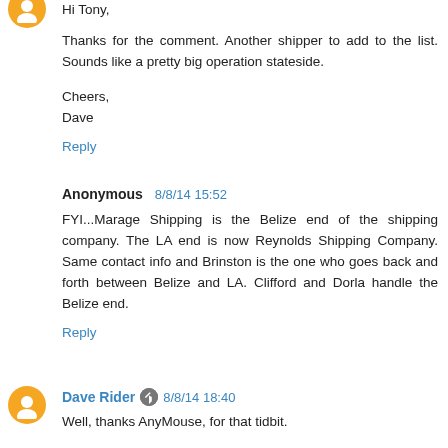Hi Tony,
Thanks for the comment. Another shipper to add to the list. Sounds like a pretty big operation stateside.
Cheers,
Dave
Reply
Anonymous  8/8/14 15:52
FYI...Marage Shipping is the Belize end of the shipping company. The LA end is now Reynolds Shipping Company. Same contact info and Brinston is the one who goes back and forth between Belize and LA. Clifford and Dorla handle the Belize end.
Reply
Dave Rider  8/8/14 18:40
Well, thanks AnyMouse, for that tidbit.